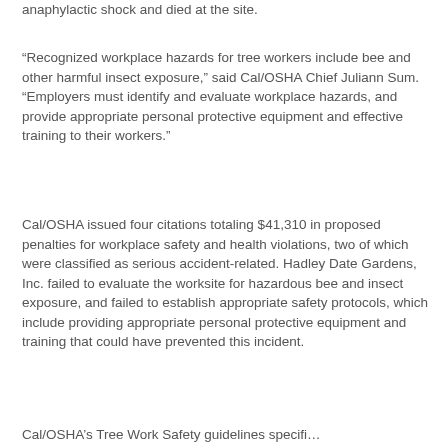anaphylactic shock and died at the site.
“Recognized workplace hazards for tree workers include bee and other harmful insect exposure,” said Cal/OSHA Chief Juliann Sum. “Employers must identify and evaluate workplace hazards, and provide appropriate personal protective equipment and effective training to their workers.”
Cal/OSHA issued four citations totaling $41,310 in proposed penalties for workplace safety and health violations, two of which were classified as serious accident-related. Hadley Date Gardens, Inc. failed to evaluate the worksite for hazardous bee and insect exposure, and failed to establish appropriate safety protocols, which include providing appropriate personal protective equipment and training that could have prevented this incident.
Cal/OSHA’s Tree Work Safety guidelines specifically...